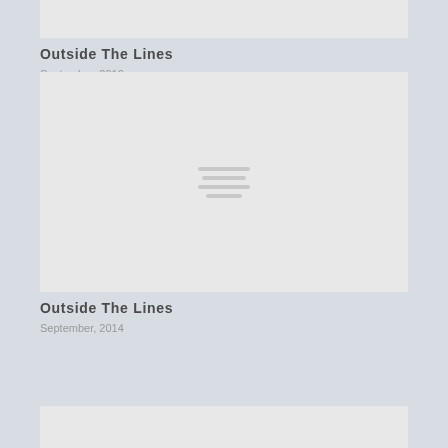[Figure (other): Gray placeholder image card at top]
Outside The Lines
September, 2016
[Figure (other): Gray placeholder image card with lines icon in center]
Outside The Lines
September, 2014
[Figure (other): Gray placeholder image card partially visible at bottom]